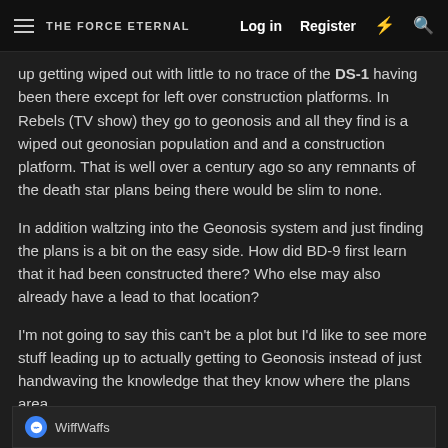THE FORCE ETERNAL | Log in | Register
up getting wiped out with little to no trace of the DS-1 having been there except for left over construction platforms. In Rebels (TV show) they go to geonosis and all they find is a wiped out geonosian population and and a construction platform. That is well over a century ago so any remnants of the death star plans being there would be slim to none.
In addition waltzing into the Geonosis system and just finding the plans is a bit on the easy side. How did BD-9 first learn that it had been constructed there? Who else may also already have a lead to that location?
I'm not going to say this can't be a plot but I'd like to see more stuff leading up to actually getting to Geonosis instead of just handwaving the knowledge that they know where the plans area.
WiffWaffs